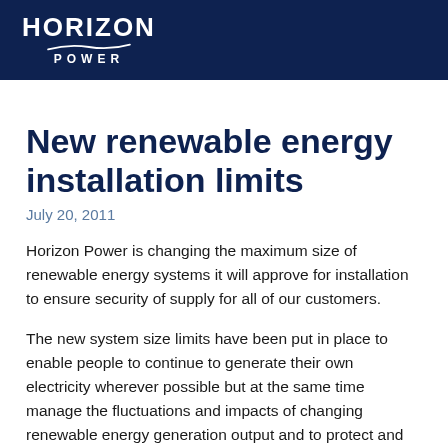HORIZON POWER
New renewable energy installation limits
July 20, 2011
Horizon Power is changing the maximum size of renewable energy systems it will approve for installation to ensure security of supply for all of our customers.
The new system size limits have been put in place to enable people to continue to generate their own electricity wherever possible but at the same time manage the fluctuations and impacts of changing renewable energy generation output and to protect and stabilise the local electricity system. This contributes to reliability and